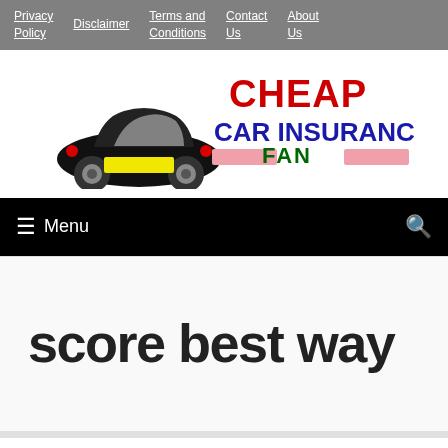Privacy Policy | Disclaimer | Terms and Conditions | Contact Us | About Us
[Figure (logo): Cheap Car Insurance Fan logo with black cartoon car and red/blue/green text]
≡ Menu
score best way